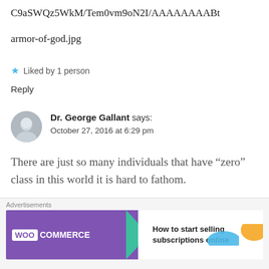C9aSWQz5WkM/Tem0vm9oN2I/AAAAAAAABt
armor-of-god.jpg
★ Liked by 1 person
Reply
Dr. George Gallant says: October 27, 2016 at 6:29 pm
There are just so many individuals that have “zero” class in this world it is hard to fathom.
★ Like
[Figure (screenshot): WooCommerce advertisement banner: How to start selling subscriptions online]